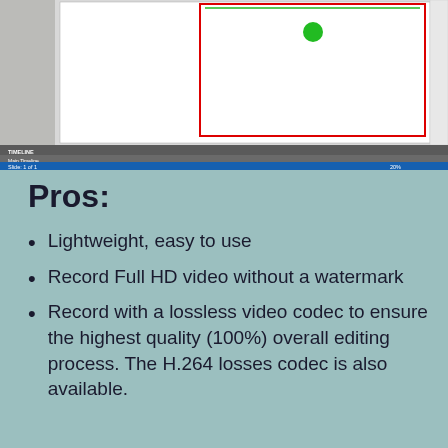[Figure (screenshot): Screenshot of an eLearning authoring tool (possibly Adobe Captivate or similar) showing a timeline panel at the bottom with 'Multiple Response Que...' and 'Placeholder 1' tracks, a slide canvas area in the center showing a quiz slide with a green circle and red-bordered text box, and a properties panel on the right with settings for Mode (Graded), Partial Score, Points (-2), Infinite Attempts, Max Attempts (3), Enable Limit Time, Timeout (ms), Pause presentation to wait for user input, Wait before hiding object, After showing object (ms) (1), Report Answers, Report ID (10_2). A blue status bar at bottom reads 'Slide 1 of 1' with a zoom slider showing 20%.]
Pros:
Lightweight, easy to use
Record Full HD video without a watermark
Record with a lossless video codec to ensure the highest quality (100%) overall editing process. The H.264 losses codec is also available.